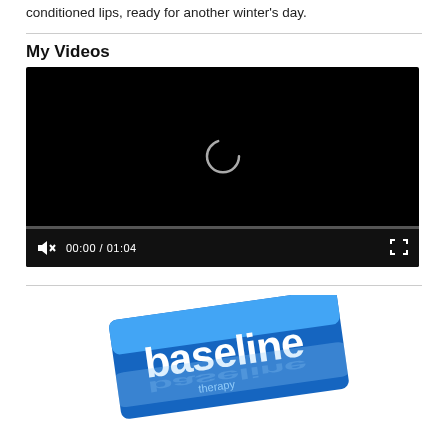conditioned lips, ready for another winter's day.
My Videos
[Figure (screenshot): Video player with black background showing a loading spinner, progress bar at bottom, controls showing muted speaker icon, timestamp 00:00 / 01:04, and fullscreen button]
[Figure (logo): Partial logo with blue and white design showing text 'baseline' or similar brand name, partially cropped]